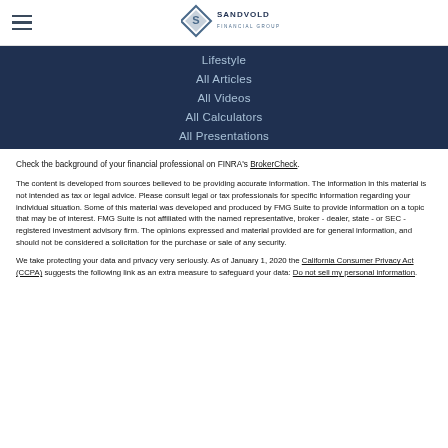Sandvold Financial Group
Lifestyle
All Articles
All Videos
All Calculators
All Presentations
Check the background of your financial professional on FINRA's BrokerCheck.
The content is developed from sources believed to be providing accurate information. The information in this material is not intended as tax or legal advice. Please consult legal or tax professionals for specific information regarding your individual situation. Some of this material was developed and produced by FMG Suite to provide information on a topic that may be of interest. FMG Suite is not affiliated with the named representative, broker - dealer, state - or SEC - registered investment advisory firm. The opinions expressed and material provided are for general information, and should not be considered a solicitation for the purchase or sale of any security.
We take protecting your data and privacy very seriously. As of January 1, 2020 the California Consumer Privacy Act (CCPA) suggests the following link as an extra measure to safeguard your data: Do not sell my personal information.